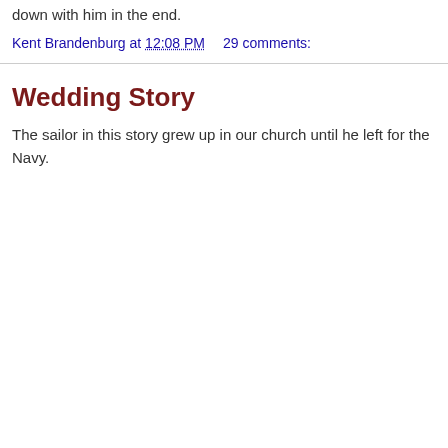down with him in the end.
Kent Brandenburg at 12:08 PM    29 comments:
Wedding Story
The sailor in this story grew up in our church until he left for the Navy.